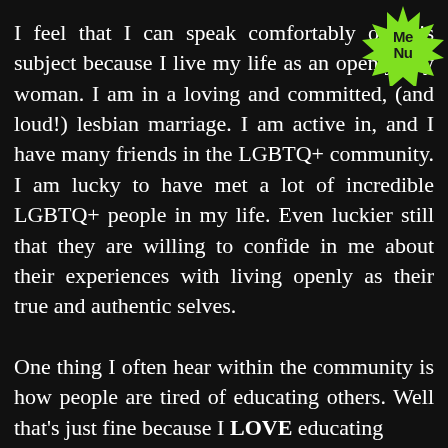[Figure (illustration): Green spiky starburst badge in top-right corner with text 'ME NU' in bold black letters]
I feel that I can speak comfortably on this subject because I live my life as an openly gay woman. I am in a loving and committed, (and loud!) lesbian marriage. I am active in, and I have many friends in the LGBTQ+ community. I am lucky to have met a lot of incredible LGBTQ+ people in my life. Even luckier still that they are willing to confide in me about their experiences with living openly as their true and authentic selves.

One thing I often hear within the community is how people are tired of educating others. Well that's just fine because I LOVE educating